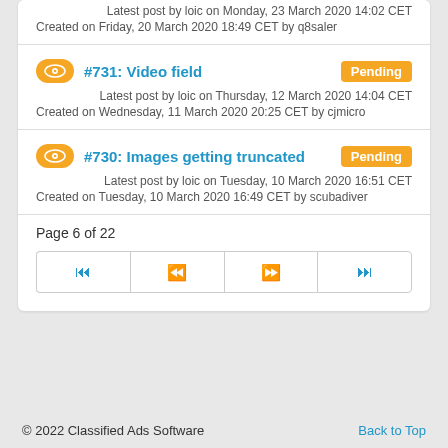Latest post by loic on Monday, 23 March 2020 14:02 CET
Created on Friday, 20 March 2020 18:49 CET by q8saler
#731: Video field
Pending
Latest post by loic on Thursday, 12 March 2020 14:04 CET
Created on Wednesday, 11 March 2020 20:25 CET by cjmicro
#730: Images getting truncated
Pending
Latest post by loic on Tuesday, 10 March 2020 16:51 CET
Created on Tuesday, 10 March 2020 16:49 CET by scubadiver
Page 6 of 22
© 2022 Classified Ads Software   Back to Top